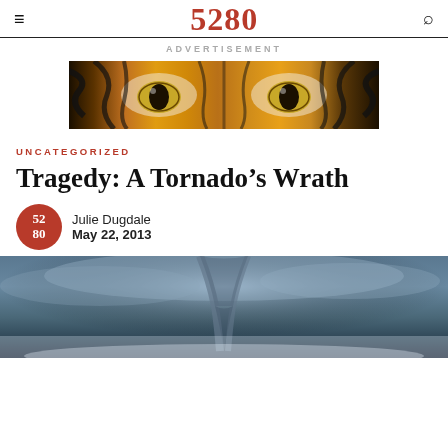5280
ADVERTISEMENT
[Figure (photo): Close-up of tiger eyes, orange and black striped fur, intense yellow-green eyes]
UNCATEGORIZED
Tragedy: A Tornado’s Wrath
Julie Dugdale
May 22, 2013
[Figure (photo): Dark stormy sky with tornado, blue-grey tones, tornado visible in distance]